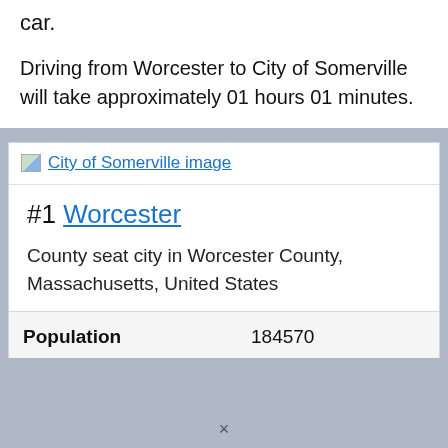car.
Driving from Worcester to City of Somerville will take approximately 01 hours 01 minutes.
[Figure (illustration): Broken image placeholder with link text 'City of Somerville image']
#1 Worcester
County seat city in Worcester County, Massachusetts, United States
| Population | 184570 |
| GPS Coordinates | 42°15'45"N 71°48'8"W |